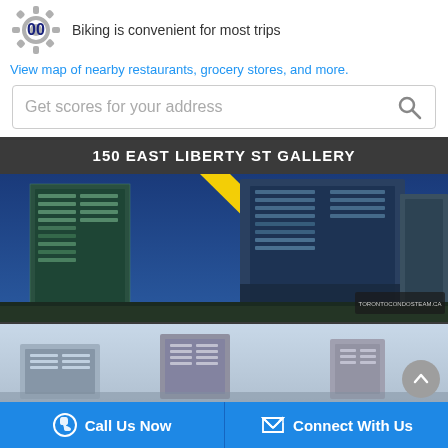[Figure (infographic): Gear/cog icon with '00' score for biking, next to text 'Biking is convenient for most trips']
Biking is convenient for most trips
View map of nearby restaurants, grocery stores, and more.
Get scores for your address
150 EAST LIBERTY ST GALLERY
[Figure (photo): Night rendering of modern glass condo towers at 150 East Liberty St with yellow diagonal accent stripe]
[Figure (photo): Daytime rendering of condo towers at 150 East Liberty St]
Call Us Now
Connect With Us